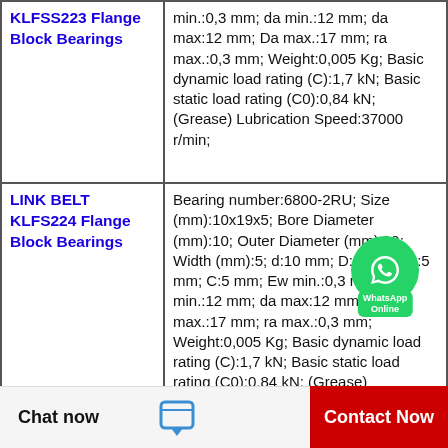| Product | Specifications |
| --- | --- |
| KLFSS223 Flange Block Bearings | min.:0,3 mm; da min.:12 mm; da max:12 mm; Da max.:17 mm; ra max.:0,3 mm; Weight:0,005 Kg; Basic dynamic load rating (C):1,7 kN; Basic static load rating (C0):0,84 kN; (Grease) Lubrication Speed:37000 r/min; |
| LINK BELT KLFS224 Flange Block Bearings | Bearing number:6800-2RU; Size (mm):10x19x5; Bore Diameter (mm):10; Outer Diameter (mm):19; Width (mm):5; d:10 mm; D:19 mm; B:5 mm; C:5 mm; Ew min.:0,3 mm; da min.:12 mm; da max:12 mm; Da max.:17 mm; ra max.:0,3 mm; Weight:0,005 Kg; Basic dynamic load rating (C):1,7 kN; Basic static load rating (C0):0,84 kN; (Grease) Lubrication Speed:37000 r/min; |
Chat now
Contact Now